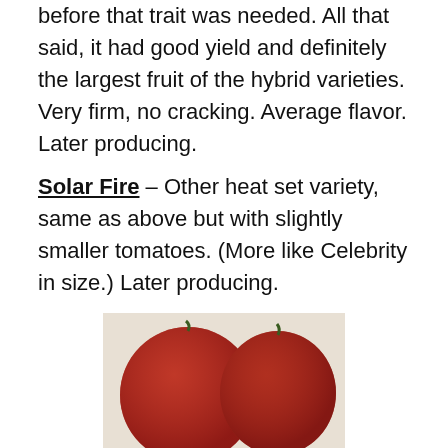before that trait was needed. All that said, it had good yield and definitely the largest fruit of the hybrid varieties. Very firm, no cracking. Average flavor. Later producing.
Solar Fire – Other heat set variety, same as above but with slightly smaller tomatoes. (More like Celebrity in size.) Later producing.
[Figure (photo): Two red tomatoes (Brandymaster and Rose varieties) shown side by side on a white surface with a ruler below them.]
Brandymaster & Rose
Brandymaster Red – Hybrid version of Brandywine. Much earlier, in fact, one of the earliest varieties. However, it cracked horribly (not quite as bad as Celebrity, but close). Although the plant grew like an indeterminate, it